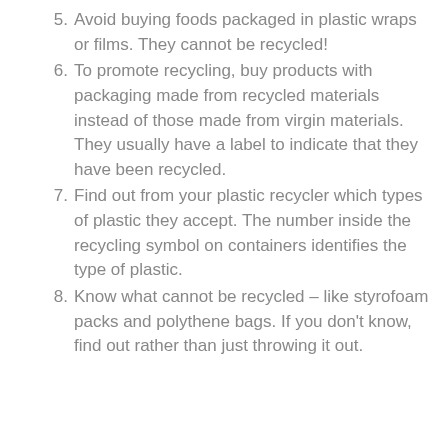5. Avoid buying foods packaged in plastic wraps or films. They cannot be recycled!
6. To promote recycling, buy products with packaging made from recycled materials instead of those made from virgin materials. They usually have a label to indicate that they have been recycled.
7. Find out from your plastic recycler which types of plastic they accept. The number inside the recycling symbol on containers identifies the type of plastic.
8. Know what cannot be recycled – like styrofoam packs and polythene bags. If you don't know, find out rather than just throwing it out.